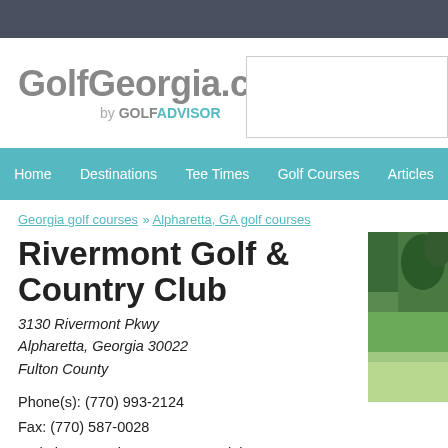[Figure (logo): GolfGeorgia.com by GOLF ADVISOR logo]
Home | Destinations | Tee Times | Golf Courses | Articles
Georgia golf courses » Alpharetta, GA golf courses
Rivermont Golf & Country Club
3130 Rivermont Pkwy
Alpharetta, Georgia 30022
Fulton County
Phone(s): (770) 993-2124
Fax: (770) 587-0028
Website: www.rivermontcountryclub.com
[Figure (photo): Outdoor photo of golf course with trees and water]
TEE TIMES IN THIS AREA